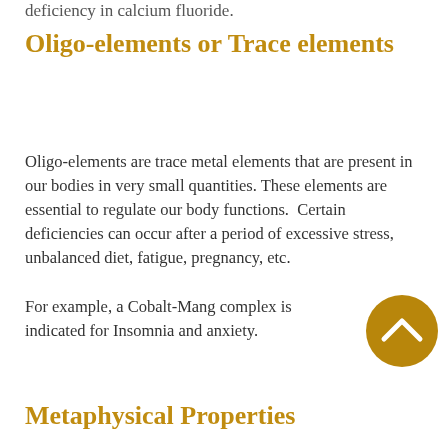deficiency in calcium fluoride.
Oligo-elements or Trace elements
Oligo-elements are trace metal elements that are present in our bodies in very small quantities. These elements are essential to regulate our body functions. Certain deficiencies can occur after a period of excessive stress, unbalanced diet, fatigue, pregnancy, etc.
For example, a Cobalt-Mango complex is indicated for Insomnia and anxiety.
Metaphysical Properties